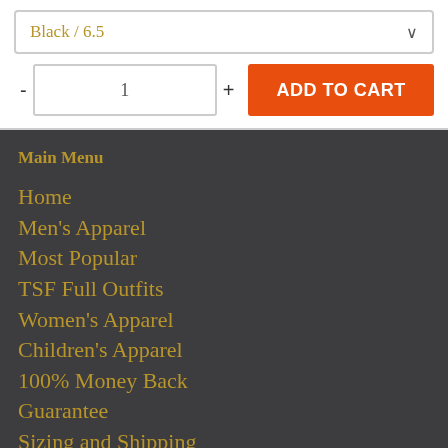Black / 6.5
- 1 + ADD TO CART
Main Menu
Home
Men's Apparel
Most Popular
TSF Full Outfits
Women's Apparel
Children's Apparel
100% Money Back Guarantee
Sizing and Shipping
Q&A
Contact Us